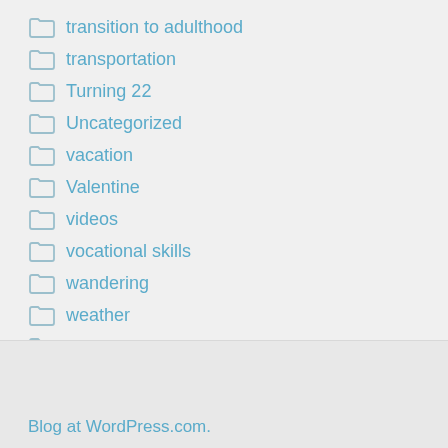transition to adulthood
transportation
Turning 22
Uncategorized
vacation
Valentine
videos
vocational skills
wandering
weather
winter snow
Blog at WordPress.com.